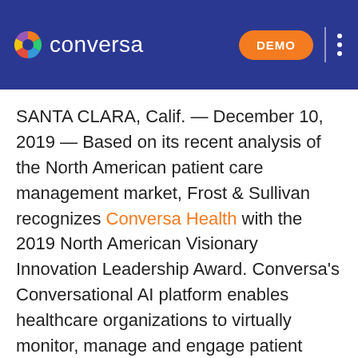conversa DEMO
SANTA CLARA, Calif. — December 10, 2019 — Based on its recent analysis of the North American patient care management market, Frost & Sullivan recognizes Conversa Health with the 2019 North American Visionary Innovation Leadership Award. Conversa's Conversational AI platform enables healthcare organizations to virtually monitor, manage and engage patient populations at scale more efficiently than ever before.
Conversa's solution is improving clinical outcomes by helping patients and providers through the